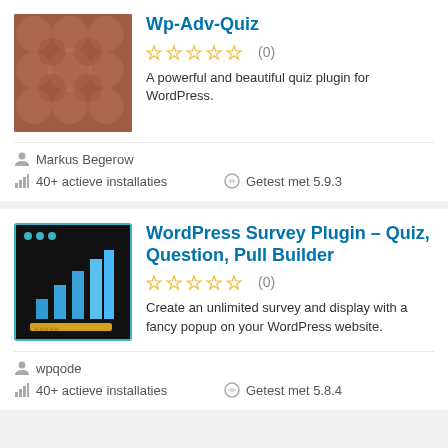[Figure (screenshot): Plugin thumbnail for Wp-Adv-Quiz: brownish background with circle pattern]
Wp-Adv-Quiz
☆☆☆☆☆ (0)
A powerful and beautiful quiz plugin for WordPress.
Markus Begerow
40+ actieve installaties
Getest met 5.9.3
[Figure (screenshot): Plugin thumbnail for WordPress Survey Plugin: dark background with bar chart and yellow progress bar]
WordPress Survey Plugin – Quiz, Question, Pull Builder
☆☆☆☆☆ (0)
Create an unlimited survey and display with a fancy popup on your WordPress website.
wpqode
40+ actieve installaties
Getest met 5.8.4